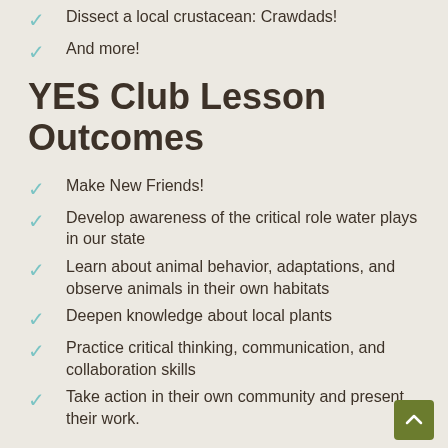Dissect a local crustacean: Crawdads!
And more!
YES Club Lesson Outcomes
Make New Friends!
Develop awareness of the critical role water plays in our state
Learn about animal behavior, adaptations, and observe animals in their own habitats
Deepen knowledge about local plants
Practice critical thinking, communication, and collaboration skills
Take action in their own community and present their work.